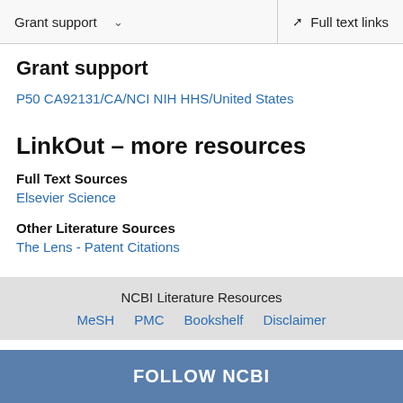Grant support   Full text links
Grant support
P50 CA92131/CA/NCI NIH HHS/United States
LinkOut – more resources
Full Text Sources
Elsevier Science
Other Literature Sources
The Lens - Patent Citations
NCBI Literature Resources  MeSH  PMC  Bookshelf  Disclaimer
FOLLOW NCBI